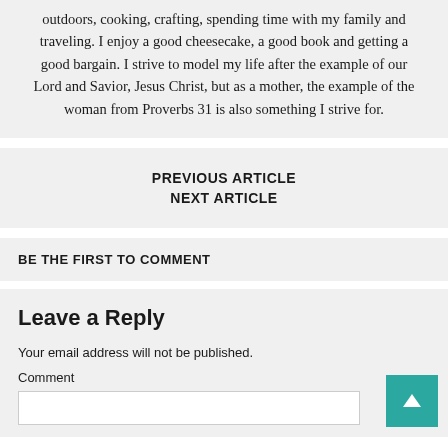outdoors, cooking, crafting, spending time with my family and traveling. I enjoy a good cheesecake, a good book and getting a good bargain. I strive to model my life after the example of our Lord and Savior, Jesus Christ, but as a mother, the example of the woman from Proverbs 31 is also something I strive for.
PREVIOUS ARTICLE
NEXT ARTICLE
BE THE FIRST TO COMMENT
Leave a Reply
Your email address will not be published.
Comment